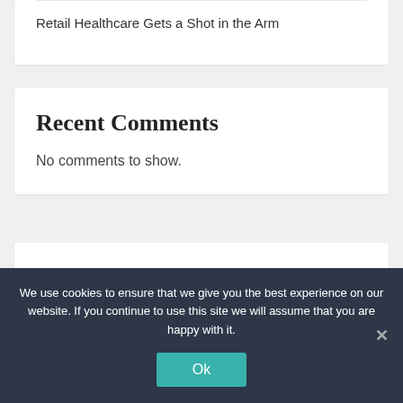Retail Healthcare Gets a Shot in the Arm
Recent Comments
No comments to show.
Archives
March 2022
We use cookies to ensure that we give you the best experience on our website. If you continue to use this site we will assume that you are happy with it.